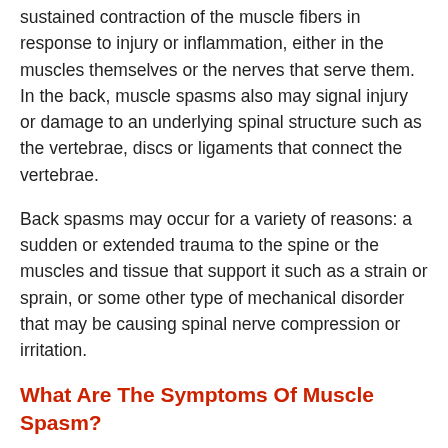sustained contraction of the muscle fibers in response to injury or inflammation, either in the muscles themselves or the nerves that serve them. In the back, muscle spasms also may signal injury or damage to an underlying spinal structure such as the vertebrae, discs or ligaments that connect the vertebrae.
Back spasms may occur for a variety of reasons: a sudden or extended trauma to the spine or the muscles and tissue that support it such as a strain or sprain, or some other type of mechanical disorder that may be causing spinal nerve compression or irritation.
What Are The Symptoms Of Muscle Spasm?
The primary symptoms of a muscle spasm typically include acute back pain or neck pain, depending on the location of the underlying injury or condition, accompanied by a sensation of severe muscle tightening, which may occur in “cycles” that last from a few seconds